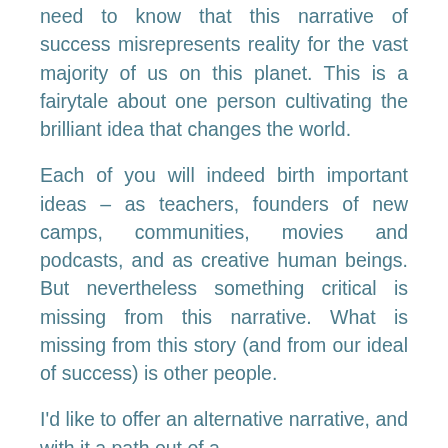need to know that this narrative of success misrepresents reality for the vast majority of us on this planet. This is a fairytale about one person cultivating the brilliant idea that changes the world.
Each of you will indeed birth important ideas – as teachers, founders of new camps, communities, movies and podcasts, and as creative human beings. But nevertheless something critical is missing from this narrative. What is missing from this story (and from our ideal of success) is other people.
I'd like to offer an alternative narrative, and with it a path out of a